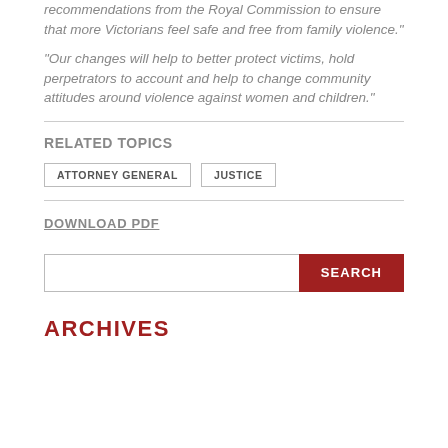recommendations from the Royal Commission to ensure that more Victorians feel safe and free from family violence.”
“Our changes will help to better protect victims, hold perpetrators to account and help to change community attitudes around violence against women and children.”
RELATED TOPICS
ATTORNEY GENERAL
JUSTICE
DOWNLOAD PDF
ARCHIVES